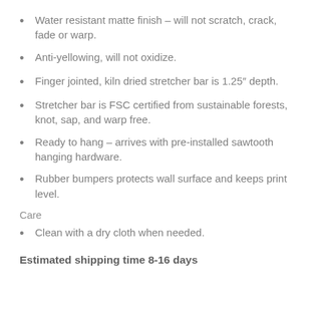Water resistant matte finish – will not scratch, crack, fade or warp.
Anti-yellowing, will not oxidize.
Finger jointed, kiln dried stretcher bar is 1.25" depth.
Stretcher bar is FSC certified from sustainable forests, knot, sap, and warp free.
Ready to hang – arrives with pre-installed sawtooth hanging hardware.
Rubber bumpers protects wall surface and keeps print level.
Care
Clean with a dry cloth when needed.
Estimated shipping time 8-16 days